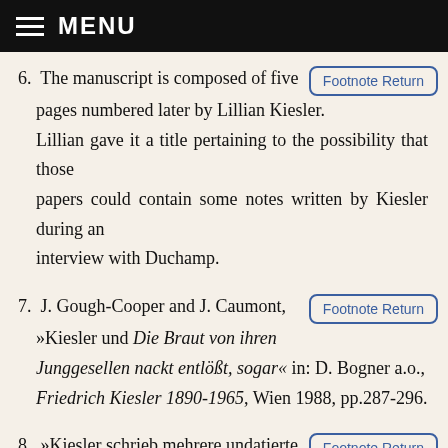MENU
6. The manuscript is composed of five pages numbered later by Lillian Kiesler. Lillian gave it a title pertaining to the possibility that those papers could contain some notes written by Kiesler during an interview with Duchamp.
7. J. Gough-Cooper and J. Caumont, »Kiesler und Die Braut von ihren Junggesellen nackt entlößt, sogar« in: D. Bogner a.o., Friedrich Kiesler 1890-1965, Wien 1988, pp.287-296.
8. »Kiesler schrieb mehrere undatierte Seiten über das Große Glass, auf die er auch einige interessante biographische Notizen kritzelte, Informationen über Duchamp, die er zweifellos schon in der